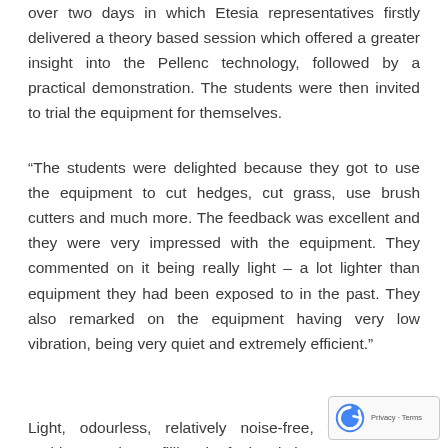over two days in which Etesia representatives firstly delivered a theory based session which offered a greater insight into the Pellenc technology, followed by a practical demonstration. The students were then invited to trial the equipment for themselves.
“The students were delighted because they got to use the equipment to cut hedges, cut grass, use brush cutters and much more. The feedback was excellent and they were very impressed with the equipment. They commented on it being really light – a lot lighter than equipment they had been exposed to in the past. They also remarked on the equipment having very low vibration, being very quiet and extremely efficient.”
Light, odourless, relatively noise-free, with starting problems and no refilling the fuel tank, it’s